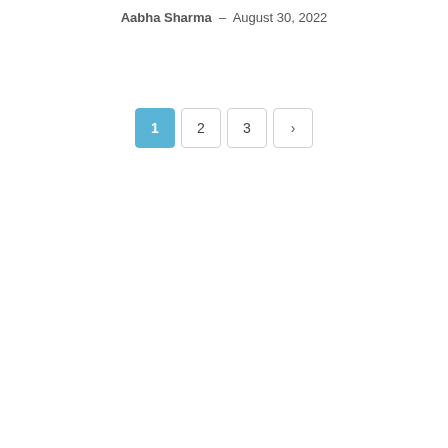Aabha Sharma - August 30, 2022
[Figure (other): Pagination control with buttons: 1 (active, blue), 2, 3, and a right arrow (next page)]